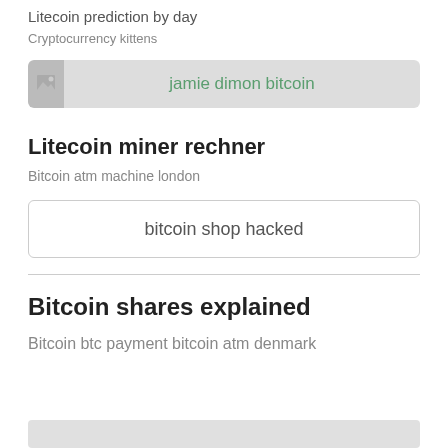Litecoin prediction by day
Cryptocurrency kittens
[Figure (screenshot): Banner with broken image icon on the left and green link text reading 'jamie dimon bitcoin' on gray background]
Litecoin miner rechner
Bitcoin atm machine london
bitcoin shop hacked
Bitcoin shares explained
Bitcoin btc payment bitcoin atm denmark